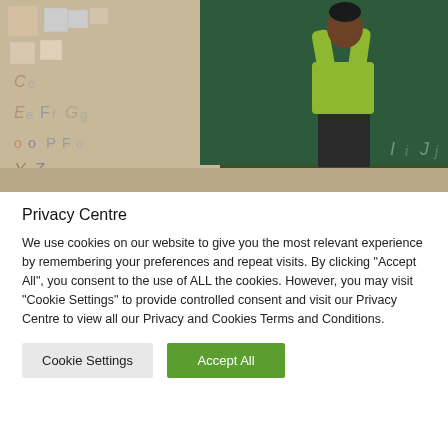[Figure (photo): A classroom scene showing a teacher in a green/yellow top writing on a green chalkboard, standing on a red stool, with two students also writing on the board. The walls show alphabet letters and educational posters.]
Privacy Centre
We use cookies on our website to give you the most relevant experience by remembering your preferences and repeat visits. By clicking "Accept All", you consent to the use of ALL the cookies. However, you may visit "Cookie Settings" to provide controlled consent and visit our Privacy Centre to view all our Privacy and Cookies Terms and Conditions.